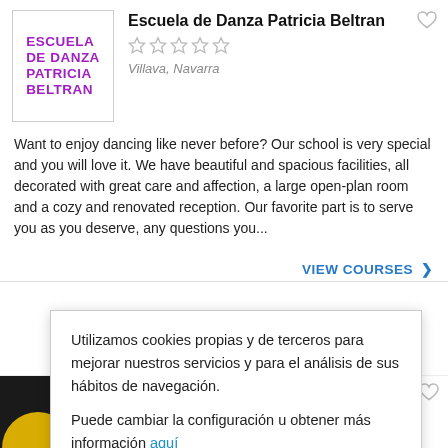[Figure (logo): Escuela de Danza Patricia Beltran logo — purple bold text on white background]
Escuela de Danza Patricia Beltran
Villava, Navarra
Want to enjoy dancing like never before? Our school is very special and you will love it. We have beautiful and spacious facilities, all decorated with great care and affection, a large open-plan room and a cozy and renovated reception. Our favorite part is to serve you as you deserve, any questions you...
VIEW COURSES ›
Utilizamos cookies propias y de terceros para mejorar nuestros servicios y para el análisis de sus hábitos de navegación.
Puede cambiar la configuración u obtener más información aqui
ACEPTAR
We are here, Berta and Victor Grayo, the Josep Cramanoces and Domenicas who decided to join their destinies in this great project that is dance. We